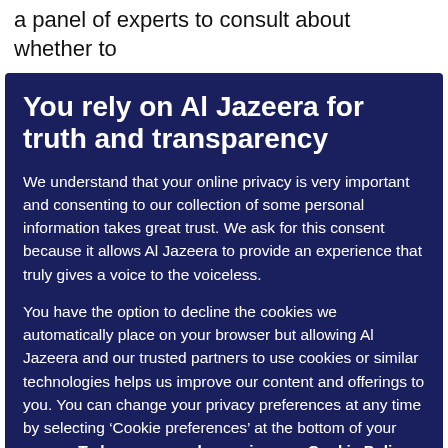a panel of experts to consult about whether to
You rely on Al Jazeera for truth and transparency
We understand that your online privacy is very important and consenting to our collection of some personal information takes great trust. We ask for this consent because it allows Al Jazeera to provide an experience that truly gives a voice to the voiceless.
You have the option to decline the cookies we automatically place on your browser but allowing Al Jazeera and our trusted partners to use cookies or similar technologies helps us improve our content and offerings to you. You can change your privacy preferences at any time by selecting ‘Cookie preferences’ at the bottom of your screen. To learn more, please view our Cookie Policy.